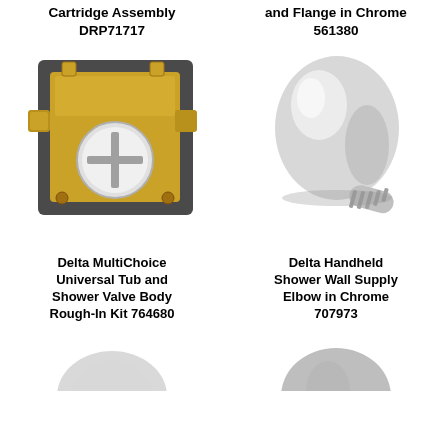Cartridge Assembly DRP71717
and Flange in Chrome 561380
[Figure (photo): Delta MultiChoice Universal Tub and Shower Valve Body Rough-In Kit 764680 - a brass valve body with dark square mounting bracket]
[Figure (photo): Delta Handheld Shower Wall Supply Elbow in Chrome 707973 - a chrome teardrop-shaped wall elbow fitting]
Delta MultiChoice Universal Tub and Shower Valve Body Rough-In Kit 764680
Delta Handheld Shower Wall Supply Elbow in Chrome 707973
[Figure (photo): Partially visible product at bottom left]
[Figure (photo): Partially visible product at bottom right]